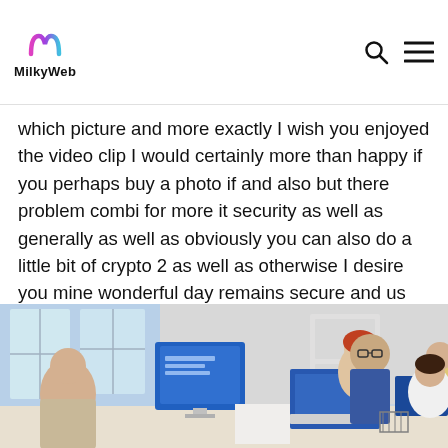MilkyWeb
which picture and more exactly I wish you enjoyed the video clip I would certainly more than happy if you perhaps buy a photo if and also but there problem combi for more it security as well as generally as well as obviously you can also do a little bit of crypto 2 as well as otherwise I desire you mine wonderful day remains secure and us see you with assurance peace
[Figure (photo): Office scene with multiple people working at computers and laptops around a table, including a man with glasses standing and leaning over, a woman in yellow jacket, and others seated.]